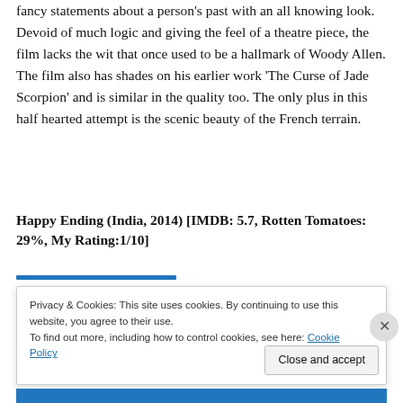fancy statements about a person's past with an all knowing look. Devoid of much logic and giving the feel of a theatre piece, the film lacks the wit that once used to be a hallmark of Woody Allen. The film also has shades on his earlier work 'The Curse of Jade Scorpion' and is similar in the quality too. The only plus in this half hearted attempt is the scenic beauty of the French terrain.
Happy Ending (India, 2014) [IMDB: 5.7, Rotten Tomatoes: 29%, My Rating:1/10]
Privacy & Cookies: This site uses cookies. By continuing to use this website, you agree to their use.
To find out more, including how to control cookies, see here: Cookie Policy